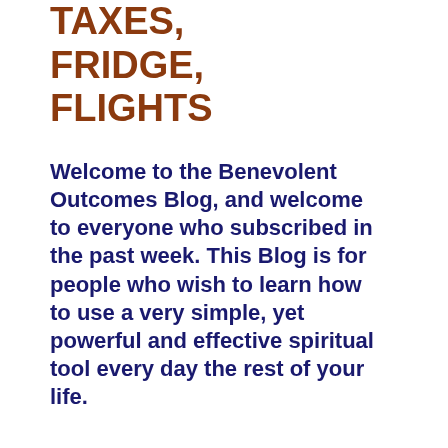TAXES, FRIDGE, FLIGHTS
Welcome to the Benevolent Outcomes Blog, and welcome to everyone who subscribed in the past week. This Blog is for people who wish to learn how to use a very simple, yet powerful and effective spiritual tool every day the rest of your life.